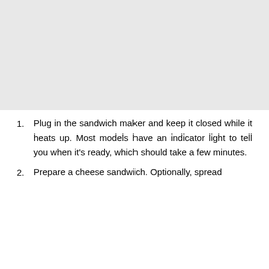[Figure (other): Large light gray rectangular placeholder image occupying the top portion of the page]
Plug in the sandwich maker and keep it closed while it heats up. Most models have an indicator light to tell you when it's ready, which should take a few minutes.
Prepare a cheese sandwich. Optionally, spread